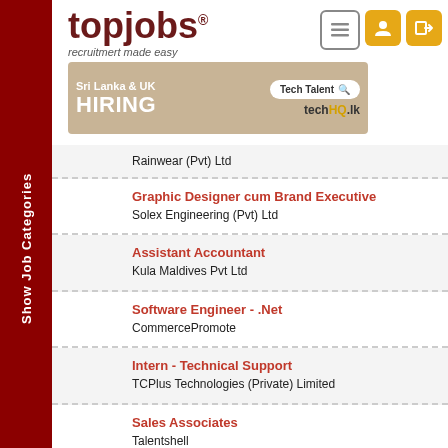[Figure (logo): topjobs logo with tagline 'recruitmert made easy']
[Figure (infographic): Ad banner: Sri Lanka & UK HIRING Tech Talent - techHQ.lk]
Rainwear (Pvt) Ltd
Graphic Designer cum Brand Executive
Solex Engineering (Pvt) Ltd
Assistant Accountant
Kula Maldives Pvt Ltd
Software Engineer - .Net
CommercePromote
Intern - Technical Support
TCPlus Technologies (Private) Limited
Sales Associates
Talentshell
Site Security Guard
Company Name withheld